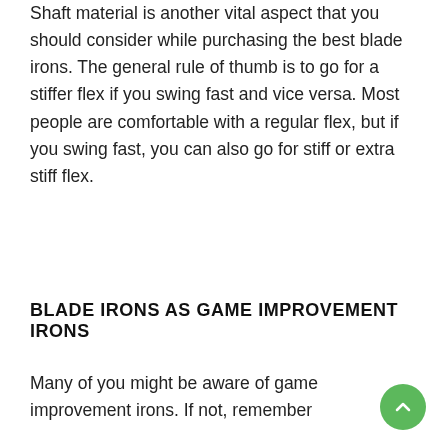Shaft material is another vital aspect that you should consider while purchasing the best blade irons. The general rule of thumb is to go for a stiffer flex if you swing fast and vice versa. Most people are comfortable with a regular flex, but if you swing fast, you can also go for stiff or extra stiff flex.
BLADE IRONS AS GAME IMPROVEMENT IRONS
Many of you might be aware of game improvement irons. If not, remember